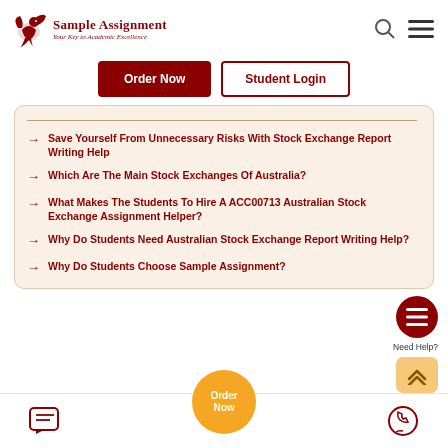[Figure (logo): Sample Assignment logo with bird icon, title 'Sample Assignment' and subtitle 'Your Key to Academic Excellence']
Order Now | Student Login
Save Yourself From Unnecessary Risks With Stock Exchange Report Writing Help
Which Are The Main Stock Exchanges Of Australia?
What Makes The Students To Hire A ACC00713 Australian Stock Exchange Assignment Helper?
Why Do Students Need Australian Stock Exchange Report Writing Help?
Why Do Students Choose Sample Assignment?